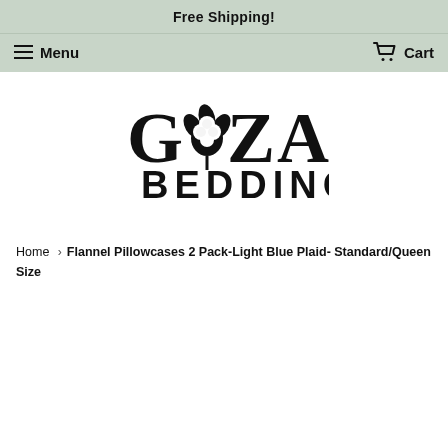Free Shipping!
Menu   Cart
[Figure (logo): Goza Bedding logo — stylized text 'GOZA BEDDING' with a cotton plant illustration replacing the letter O in GOZA]
Home › Flannel Pillowcases 2 Pack-Light Blue Plaid- Standard/Queen Size